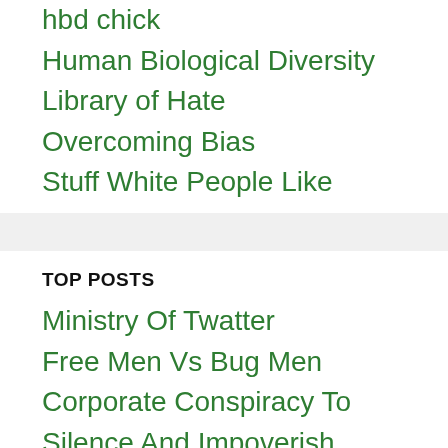hbd chick
Human Biological Diversity
Library of Hate
Overcoming Bias
Stuff White People Like
TOP POSTS
Ministry Of Twatter
Free Men Vs Bug Men
Corporate Conspiracy To Silence And Impoverish Political Dissidents
America Vs Poland: Vulvo Edition
Women Are Anathema To Revolutionary